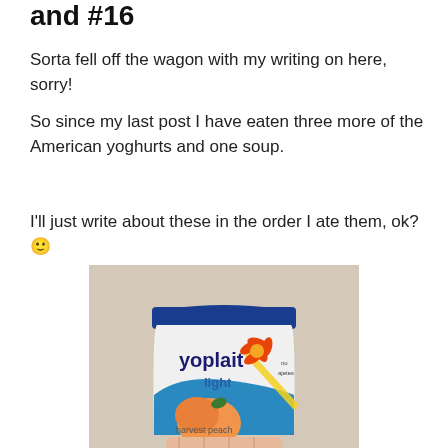and #16
Sorta fell off the wagon with my writing on here, sorry!
So since my last post I have eaten three more of the American yoghurts and one soup.
I'll just write about these in the order I ate them, ok? 🙂
[Figure (photo): A hand holding a small Yoplait Light yogurt container in harvest peach flavor, with blue and white packaging and the Yoplait logo with orange/red flower design.]